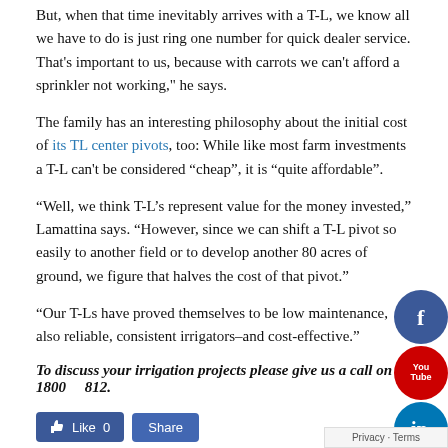But, when that time inevitably arrives with a T-L, we know all we have to do is just ring one number for quick dealer service. That's important to us, because with carrots we can't afford a sprinkler not working," he says.
The family has an interesting philosophy about the initial cost of its TL center pivots, too: While like most farm investments a T-L can't be considered “cheap”, it is “quite affordable”.
“Well, we think T-L’s represent value for the money invested,” Lamattina says. “However, since we can shift a T-L pivot so easily to another field or to develop another 80 acres of ground, we figure that halves the cost of that pivot.”
“Our T-Ls have proved themselves to be low maintenance, also reliable, consistent irrigators–and cost-effective.”
To discuss your irrigation projects please give us a call on 1800 812.
[Figure (illustration): Facebook circular icon (blue with white f)]
[Figure (illustration): YouTube circular icon (red with You Tube text)]
[Figure (illustration): LinkedIn circular icon (blue with white in)]
[Figure (illustration): Facebook Like button (blue) with count 0 and Share button]
Privacy · Terms